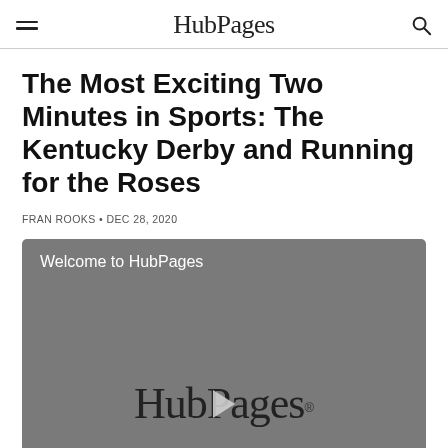HubPages
The Most Exciting Two Minutes in Sports: The Kentucky Derby and Running for the Roses
FRAN ROOKS • DEC 28, 2020
[Figure (screenshot): Video thumbnail showing HubPages logo with play button overlay and text 'Welcome to HubPages']